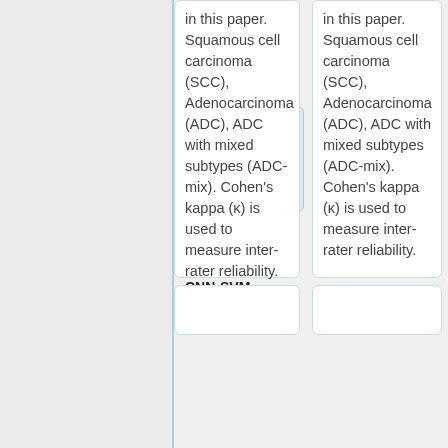in this paper. Squamous cell carcinoma (SCC), Adenocarcinoma (ADC), ADC with mixed subtypes (ADC-mix). Cohen's kappa (κ) is used to measure inter-rater reliability.
in this paper. Squamous cell carcinoma (SCC), Adenocarcinoma (ADC), ADC with mixed subtypes (ADC-mix). Cohen's kappa (κ) is used to measure inter-rater reliability.
SCC vs non-SCC:
Table 3 on the left represents NSCLC classification results. The proposed EM-CNN-SVM and EM-Finetune-CNN-SVM